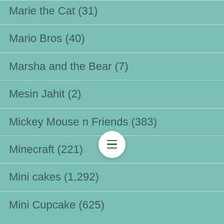Marie the Cat (31)
Mario Bros (40)
Marsha and the Bear (7)
Mesin Jahit (2)
Mickey Mouse n Friends (383)
Minecraft (221)
Mini cakes (1,292)
Mini Cupcake (625)